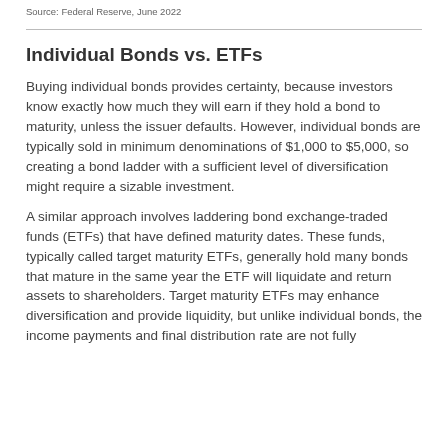Source: Federal Reserve, June 2022
Individual Bonds vs. ETFs
Buying individual bonds provides certainty, because investors know exactly how much they will earn if they hold a bond to maturity, unless the issuer defaults. However, individual bonds are typically sold in minimum denominations of $1,000 to $5,000, so creating a bond ladder with a sufficient level of diversification might require a sizable investment.
A similar approach involves laddering bond exchange-traded funds (ETFs) that have defined maturity dates. These funds, typically called target maturity ETFs, generally hold many bonds that mature in the same year the ETF will liquidate and return assets to shareholders. Target maturity ETFs may enhance diversification and provide liquidity, but unlike individual bonds, the income payments and final distribution rate are not fully